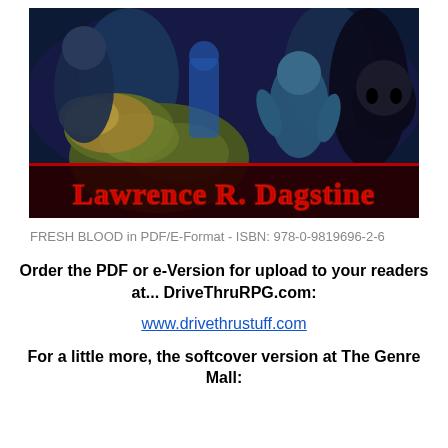[Figure (illustration): Book cover for Lawrence R. Dagstine showing horror/zombie themed artwork with blue-toned figures, skulls, and a creature in the foreground, with the author name 'Lawrence R. Dagstine' in red glowing text at the bottom of the image.]
FRESH BLOOD in PDF/E-Format - ISBN: 978-0-9819696-2-6
Order the PDF or e-Version for upload to your readers at... DriveThruRPG.com:
www.drivethrustuff.com
For a little more, the softcover version at The Genre Mall: